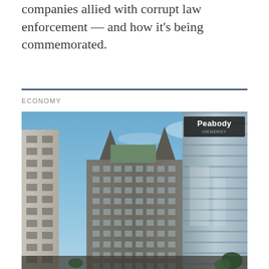companies allied with corrupt law enforcement — and how it's being commemorated.
ECONOMY
[Figure (photo): Outdoor photo of downtown city buildings under a blue sky, with a Peabody Energy building sign visible on the right side of the frame.]